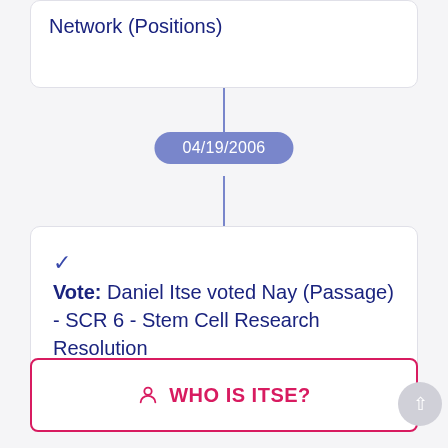Network (Positions)
04/19/2006
Vote: Daniel Itse voted Nay (Passage) - SCR 6 - Stem Cell Research Resolution
WHO IS ITSE?